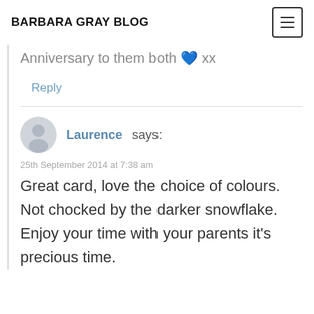BARBARA GRAY BLOG
Anniversary to them both 💙 xx
Reply
Laurence says:
25th September 2014 at 7:38 am
Great card, love the choice of colours. Not chocked by the darker snowflake. Enjoy your time with your parents it's precious time.